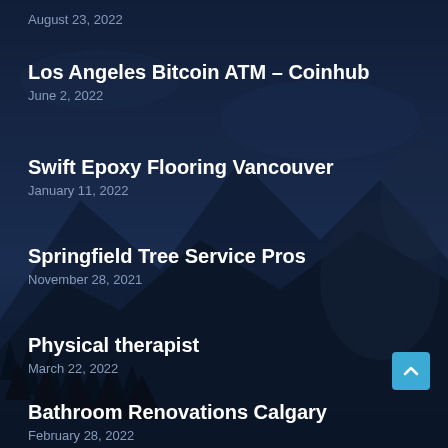August 23, 2022
Los Angeles Bitcoin ATM – Coinhub
June 2, 2022
Swift Epoxy Flooring Vancouver
January 11, 2022
Springfield Tree Service Pros
November 28, 2021
Physical therapist
March 22, 2022
Bathroom Renovations Calgary
February 28, 2022